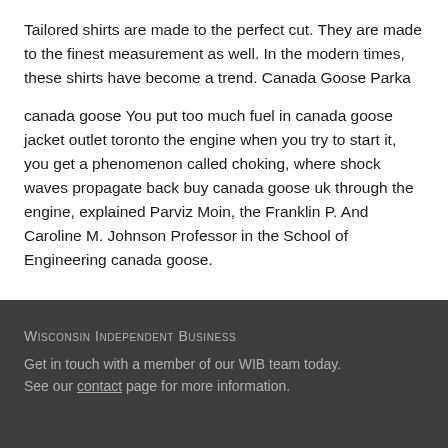Tailored shirts are made to the perfect cut. They are made to the finest measurement as well. In the modern times, these shirts have become a trend. Canada Goose Parka
canada goose You put too much fuel in canada goose jacket outlet toronto the engine when you try to start it, you get a phenomenon called choking, where shock waves propagate back buy canada goose uk through the engine, explained Parviz Moin, the Franklin P. And Caroline M. Johnson Professor in the School of Engineering canada goose.
Wisconsin Independent Business
Get in touch with a member of our WIB team today. See our contact page for more information.